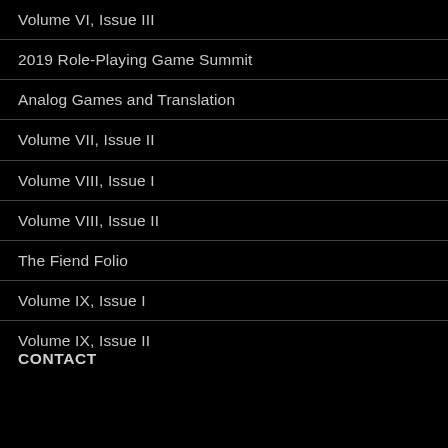Volume VI, Issue III
2019 Role-Playing Game Summit
Analog Games and Translation
Volume VII, Issue II
Volume VIII, Issue I
Volume VIII, Issue II
The Fiend Folio
Volume IX, Issue I
Volume IX, Issue II
CONTACT